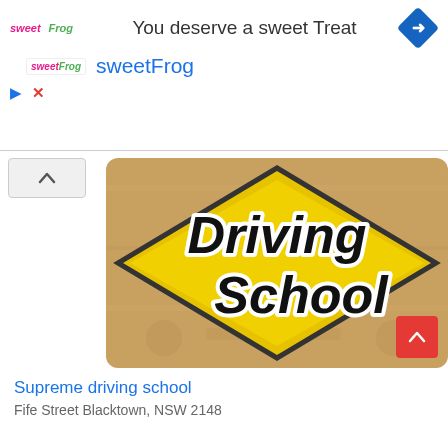[Figure (infographic): Advertisement banner for sweetFrog with text 'You deserve a sweet Treat' and sweetFrog logo and blue navigation arrow icon]
[Figure (illustration): Driving School logo on a tan/wooden textured background: yellow diamond road sign shape with bold italic black text 'Driving School' in white-outlined lettering]
Supreme driving school
Fife Street Blacktown, NSW 2148